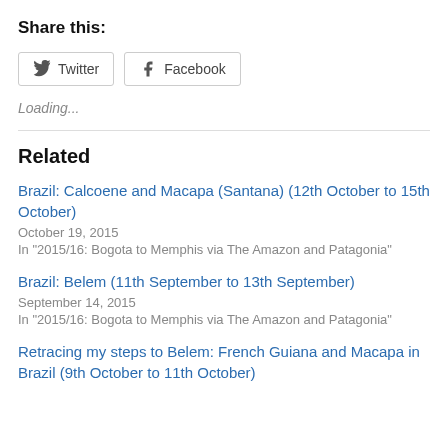Share this:
Twitter  Facebook
Loading...
Related
Brazil: Calcoene and Macapa (Santana) (12th October to 15th October)
October 19, 2015
In "2015/16: Bogota to Memphis via The Amazon and Patagonia"
Brazil: Belem (11th September to 13th September)
September 14, 2015
In "2015/16: Bogota to Memphis via The Amazon and Patagonia"
Retracing my steps to Belem: French Guiana and Macapa in Brazil (9th October to 11th October)